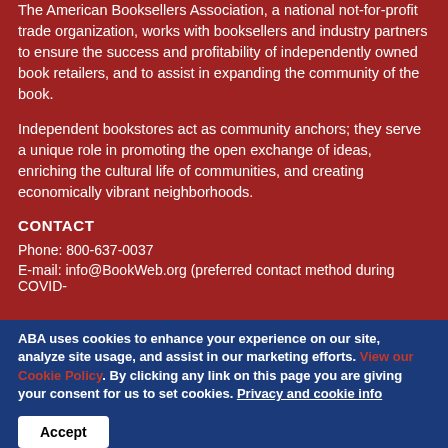The American Booksellers Association, a national not-for-profit trade organization, works with booksellers and industry partners to ensure the success and profitability of independently owned book retailers, and to assist in expanding the community of the book.
Independent bookstores act as community anchors; they serve a unique role in promoting the open exchange of ideas, enriching the cultural life of communities, and creating economically vibrant neighborhoods.
CONTACT
Phone: 800-637-0037
E-mail: info@BookWeb.org (preferred contact method during COVID-
ABA uses cookies to enhance your experience on our site, analyze site usage, and assist in our marketing efforts. View our Cookie Policy. By clicking any link on this page you are giving your consent for us to set cookies. Privacy and cookie info
Accept